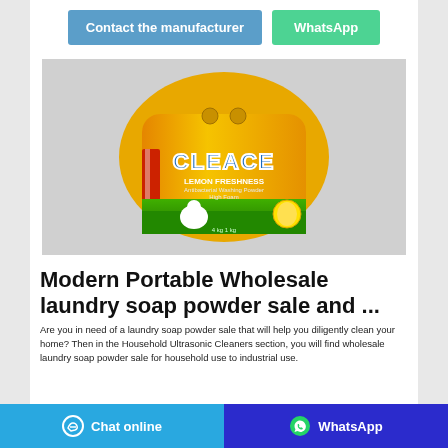Contact the manufacturer
WhatsApp
[Figure (photo): Yellow and green bag of CLEACE Lemon Freshness laundry soap powder, antibacterial washing powder, high foam, shown on grey background]
Modern Portable Wholesale laundry soap powder sale and ...
Are you in need of a laundry soap powder sale that will help you diligently clean your home? Then in the Household Ultrasonic Cleaners section, you will find wholesale laundry soap powder sale for household use to industrial use.
Chat online
WhatsApp